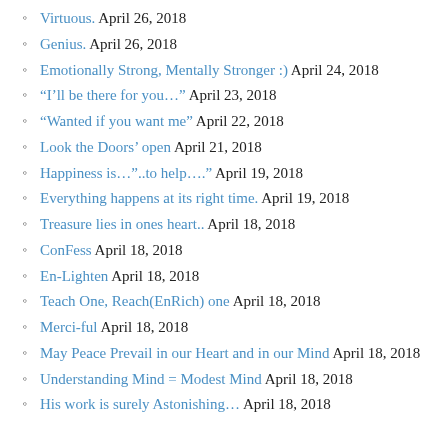Virtuous. April 26, 2018
Genius. April 26, 2018
Emotionally Strong, Mentally Stronger :) April 24, 2018
“I’ll be there for you…” April 23, 2018
“Wanted if you want me” April 22, 2018
Look the Doors’ open April 21, 2018
Happiness is…”..to help….” April 19, 2018
Everything happens at its right time. April 19, 2018
Treasure lies in ones heart.. April 18, 2018
ConFess April 18, 2018
En-Lighten April 18, 2018
Teach One, Reach(EnRich) one April 18, 2018
Merci-ful April 18, 2018
May Peace Prevail in our Heart and in our Mind April 18, 2018
Understanding Mind = Modest Mind April 18, 2018
His work is surely Astonishing… April 18, 2018